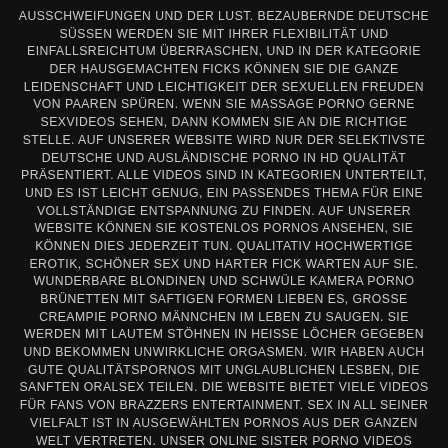AUSSCHWEIFUNGEN UND DER LUST. BEZAUBERNDE DEUTSCHE SÜSSEN WERDEN SIE MIT IHRER FLEXIBILITÄT UND EINFALLSREICHTUM ÜBERRASCHEN, UND IN DER KATEGORIE DER HAUSGEMACHTEN FICKS KÖNNEN SIE DIE GANZE LEIDENSCHAFT UND LEICHTIGKEIT DER SEXUELLEN FREUDEN VON PAAREN SPÜREN. WENN SIE MASSAGE PORNO GERNE SEXVIDEOS SEHEN, DANN KOMMEN SIE AN DIE RICHTIGE STELLE. AUF UNSERER WEBSITE WIRD NUR DER SELEKTIVSTE DEUTSCHE UND AUSLÄNDISCHE PORNO IN HD QUALITÄT PRÄSENTIERT. ALLE VIDEOS SIND IN KATEGORIEN UNTERTEILT, UND ES IST LEICHT GENUG, EIN PASSENDES THEMA FÜR EINE VOLLSTÄNDIGE ENTSPANNUNG ZU FINDEN. AUF UNSERER WEBSITE KÖNNEN SIE KOSTENLOS PORNOS ANSEHEN, SIE KÖNNEN DIES JEDERZEIT TUN. QUALITATIV HOCHWERTIGE EROTIK, SCHÖNER SEX UND HARTER FICK WARTEN AUF SIE. WUNDERBARE BLONDINEN UND SCHWÜLE KAMERA PORNO BRÜNETTEN MIT SAFTIGEN FORMEN LIEBEN ES, GROSSE CREAMPIE PORNO MÄNNCHEN IM LEBEN ZU SAUGEN. SIE WERDEN MIT LAUTEM STÖHNEN IN HEISSE LÖCHER GEGEBEN UND BEKOMMEN UNWIRKLICHE ORGASMEN. WIR HABEN AUCH GUTE QUALITÄTSPORNOS MIT UNGLAUBLICHEN LESBEN, DIE SANFTEN ORALSEX TEILEN. DIE WEBSITE BIETET VIELE VIDEOS FÜR FANS VON BRAZZERS ENTERTAINMENT. SEX IN ALL SEINER VIELFALT IST IN AUSGEWÄHLTEN PORNOS AUS DER GANZEN WELT VERTRETEN. UNSER ONLINE SISTER PORNO VIDEOS WIRD DEN BEDÜRFNISSEN